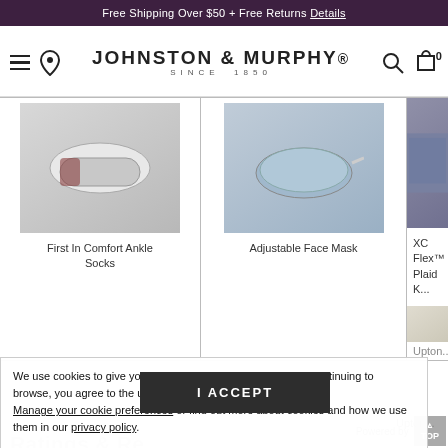Free Shipping Over $50 + Free Returns Details
[Figure (logo): Johnston & Murphy logo with hamburger menu, location pin, search and cart icons]
[Figure (photo): First In Comfort Ankle Socks product image - socks photographed on white background]
First In Comfort Ankle Socks
[Figure (photo): Adjustable Face Mask product image - blue face mask on white background]
Adjustable Face Mask
[Figure (photo): XC Flex™ Plaid K... product image partially visible on right edge]
XC Flex™ Plaid K...
We use cookies to give you the best experience possible. By continuing to browse, you agree to the use of these cookies. Manage your cookie preferences or find out more about cookies and how we use them in our privacy policy.
I ACCEPT
Ratings & Re...
Powered by